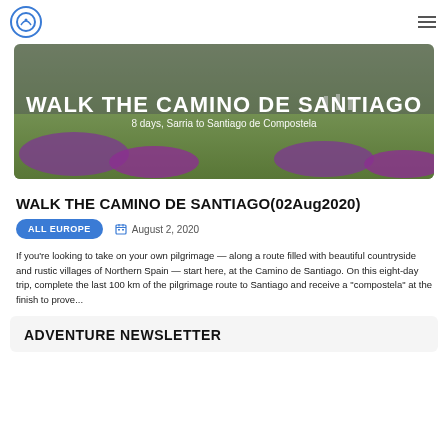[Figure (photo): Scenic landscape with purple wildflowers and green hills. Large white bold text reads 'WALK THE CAMINO DE SANTIAGO' with subtitle '8 days, Sarria to Santiago de Compostela'. People walking in background.]
WALK THE CAMINO DE SANTIAGO(02Aug2020)
ALL EUROPE    August 2, 2020
If you're looking to take on your own pilgrimage — along a route filled with beautiful countryside and rustic villages of Northern Spain — start here, at the Camino de Santiago. On this eight-day trip, complete the last 100 km of the pilgrimage route to Santiago and receive a "compostela" at the finish to prove...
ADVENTURE NEWSLETTER